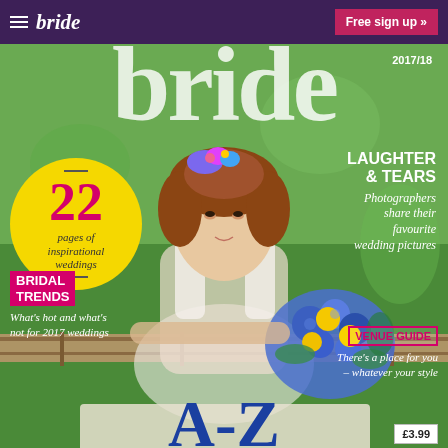bride   Free sign up »
bride 2017/18
22 pages of inspirational weddings
LAUGHTER & TEARS
Photographers share their favourite wedding pictures
BRIDAL TRENDS
What's hot and what's not for 2017 weddings
VENUE GUIDE
There's a place for you – whatever your style
[Figure (photo): Magazine cover showing a bride with blue and yellow flower bouquet and floral headpiece, leaning on a wooden fence in an outdoor green setting]
A-Z
£3.99